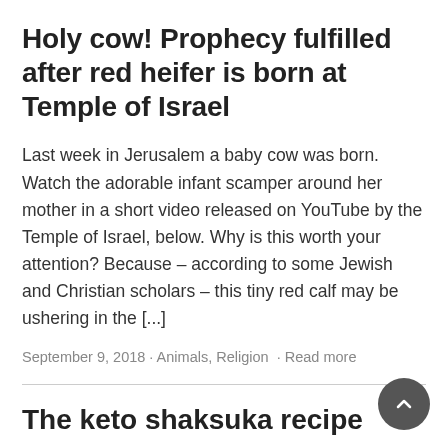Holy cow! Prophecy fulfilled after red heifer is born at Temple of Israel
Last week in Jerusalem a baby cow was born. Watch the adorable infant scamper around her mother in a short video released on YouTube by the Temple of Israel, below. Why is this worth your attention? Because – according to some Jewish and Christian scholars – this tiny red calf may be ushering in the [...]
September 9, 2018 · Animals, Religion · Read more
The keto shaksuka recipe
I was introduced to shakshuka on my first trip to